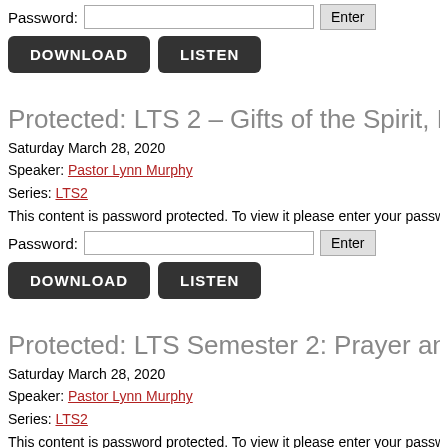Password:
DOWNLOAD   LISTEN
Protected: LTS 2 – Gifts of the Spirit, Part 1
Saturday March 28, 2020
Speaker: Pastor Lynn Murphy
Series: LTS2
This content is password protected. To view it please enter your password belo
Password:
DOWNLOAD   LISTEN
Protected: LTS Semester 2: Prayer and Fast
Saturday March 28, 2020
Speaker: Pastor Lynn Murphy
Series: LTS2
This content is password protected. To view it please enter your password belo
Password: